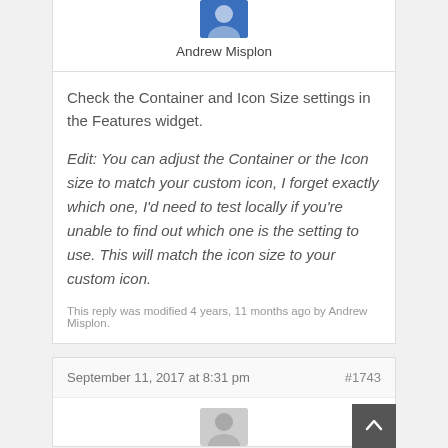[Figure (photo): Avatar/profile photo of Andrew Misplon with blue background]
Andrew Misplon
Check the Container and Icon Size settings in the Features widget.
Edit: You can adjust the Container or the Icon size to match your custom icon, I forget exactly which one, I'd need to test locally if you're unable to find out which one is the setting to use. This will match the icon size to your custom icon.
This reply was modified 4 years, 11 months ago by Andrew Misplon.
September 11, 2017 at 8:31 pm
#1743
[Figure (photo): Avatar/profile photo partially visible at bottom of page]